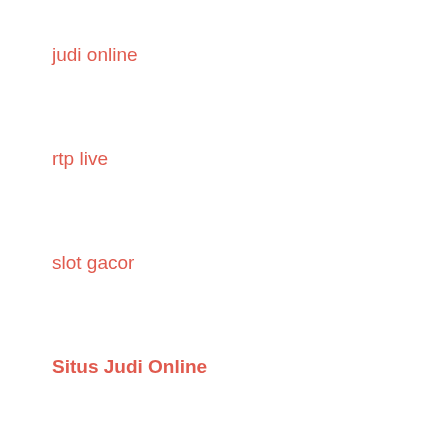judi online
rtp live
slot gacor
Situs Judi Online
pengeluaran hk
sbobet
togel sgp